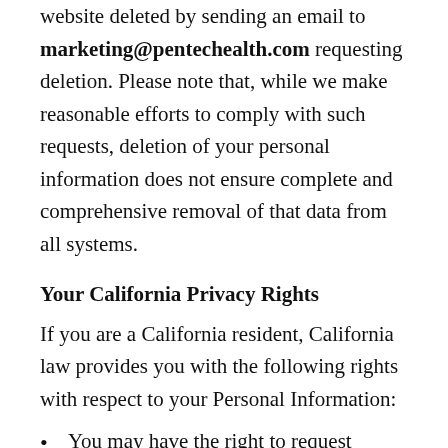website deleted by sending an email to marketing@pentechealth.com requesting deletion. Please note that, while we make reasonable efforts to comply with such requests, deletion of your personal information does not ensure complete and comprehensive removal of that data from all systems.
Your California Privacy Rights
If you are a California resident, California law provides you with the following rights with respect to your Personal Information:
You may have the right to request Pentec to disclose your Personal